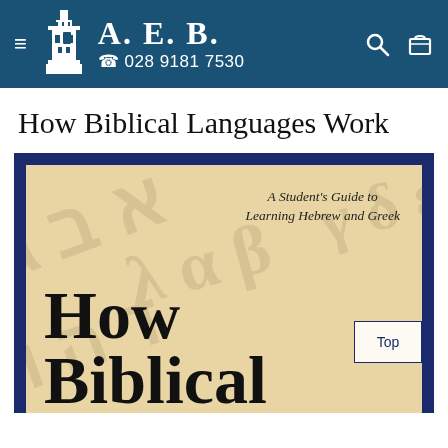A. E. B. | 028 9181 7530
How Biblical Languages Work
[Figure (photo): Book cover of 'How Biblical Languages Work: A Student's Guide to Learning Hebrew and Greek'. The cover shows large serif text reading 'How Biblical' with watermark-style Hebrew and Greek script characters in the background on a parchment-colored background, inside a dark navy border frame.]
Top